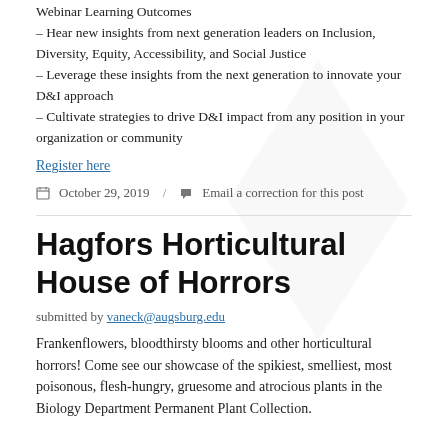Webinar Learning Outcomes
– Hear new insights from next generation leaders on Inclusion, Diversity, Equity, Accessibility, and Social Justice
– Leverage these insights from the next generation to innovate your D&I approach
– Cultivate strategies to drive D&I impact from any position in your organization or community
Register here
October 29, 2019 / Email a correction for this post
Hagfors Horticultural House of Horrors
submitted by vaneck@augsburg.edu
Frankenflowers, bloodthirsty blooms and other horticultural horrors! Come see our showcase of the spikiest, smelliest, most poisonous, flesh-hungry, gruesome and atrocious plants in the Biology Department Permanent Plant Collection.